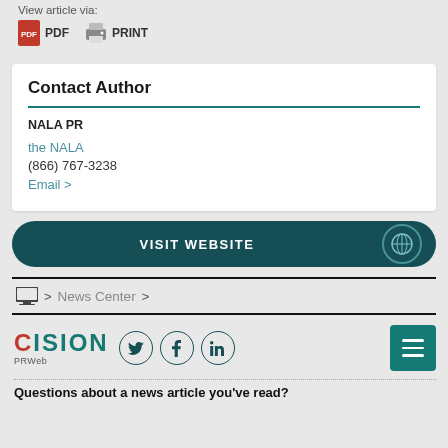View article via:
PDF  PRINT
Contact Author
NALA PR
the NALA
(866) 767-3238
Email >
VISIT WEBSITE
> News Center >
[Figure (logo): CISION PRWeb logo with social media icons (Twitter, Facebook, LinkedIn) and hamburger menu button]
Questions about a news article you've read?